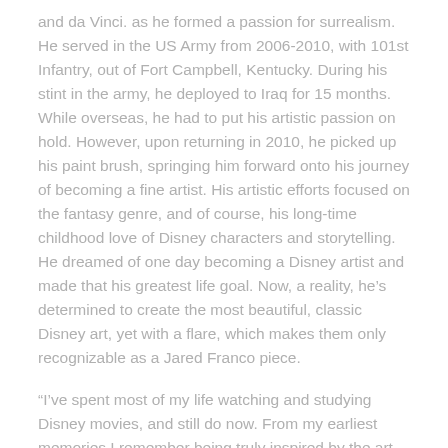and da Vinci. as he formed a passion for surrealism. He served in the US Army from 2006-2010, with 101st Infantry, out of Fort Campbell, Kentucky. During his stint in the army, he deployed to Iraq for 15 months. While overseas, he had to put his artistic passion on hold. However, upon returning in 2010, he picked up his paint brush, springing him forward onto his journey of becoming a fine artist. His artistic efforts focused on the fantasy genre, and of course, his long-time childhood love of Disney characters and storytelling. He dreamed of one day becoming a Disney artist and made that his greatest life goal. Now, a reality, he's determined to create the most beautiful, classic Disney art, yet with a flare, which makes them only recognizable as a Jared Franco piece.
“I’ve spent most of my life watching and studying Disney movies, and still do now. From my earliest memories I remember being truly inspired by the art and found myself watching entire movies over and over again -- admiring and studying the artwork. This passion drove me to create my own paintings,” says Franco. “I never imagined I’d be doing it for Disney Fine Art.”